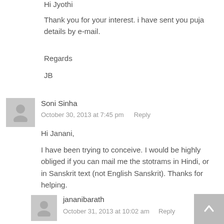Hi Jyothi
Thank you for your interest. i have sent you puja details by e-mail.
Regards
JB
Soni Sinha
October 30, 2013 at 7:45 pm   Reply
Hi Janani,
I have been trying to conceive. I would be highly obliged if you can mail me the stotrams in Hindi, or in Sanskrit text (not English Sanskrit). Thanks for helping.
jananibarath
October 31, 2013 at 10:02 am   Reply